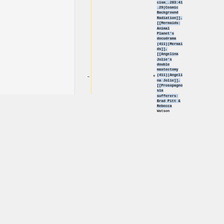cism_.283:41.29|Cosmic Background Radiation]], [[Mermaids: Animal Planet's docudrama (411)|Mermaids]], [[Angelina Jolie's double mastectomy (411)|Angelina Jolie]], [[Prosopagnosia sufferers: Brad Pitt & Rebecca Watson